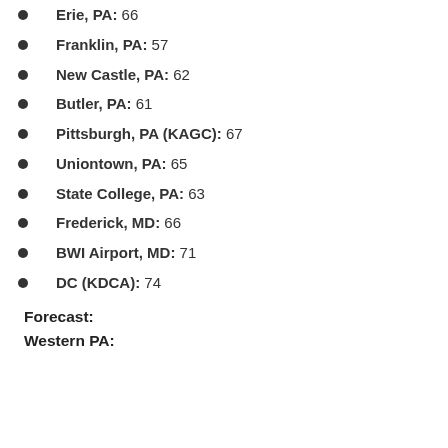Erie, PA: 66
Franklin, PA: 57
New Castle, PA: 62
Butler, PA: 61
Pittsburgh, PA (KAGC): 67
Uniontown, PA: 65
State College, PA: 63
Frederick, MD: 66
BWI Airport, MD: 71
DC (KDCA): 74
Forecast:
Western PA: